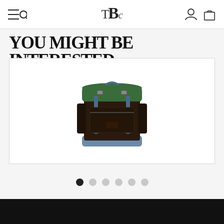TBC — navigation header with menu/search icon, logo, account and bag icons
YOU MIGHT BE INTERESTED
[Figure (photo): A backpack with dark brown/black body, green top flap, blue bottom trim and blue straps, shown on a white background product card]
Carousel navigation dots — 1 active (dark), 5 inactive (grey)
Black footer bar